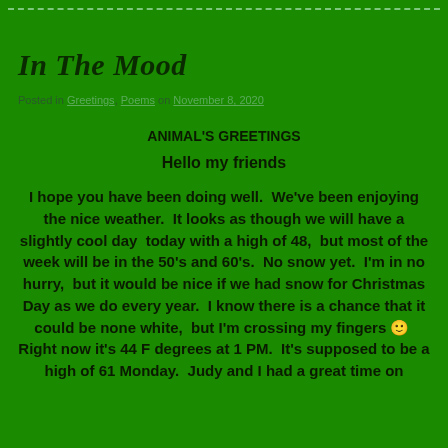In The Mood
Posted in Greetings, Poems on November 8, 2020
ANIMAL'S GREETINGS
Hello my friends
I hope you have been doing well.  We've been enjoying the nice weather.  It looks as though we will have a slightly cool day  today with a high of 48,  but most of the week will be in the 50's and 60's.  No snow yet.  I'm in no hurry,  but it would be nice if we had snow for Christmas Day as we do every year.  I know there is a chance that it could be none white,  but I'm crossing my fingers 🙂  Right now it's 44 F degrees at 1 PM.  It's supposed to be a high of 61 Monday.  Judy and I had a great time on